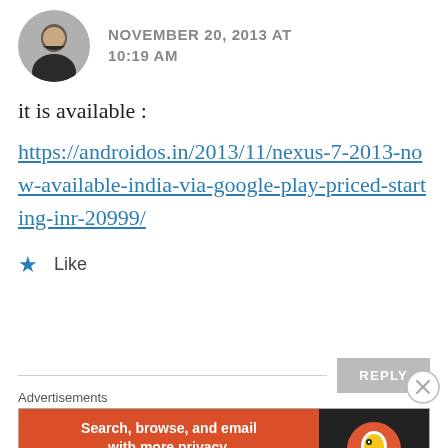[Figure (photo): Circular avatar photo of a man in dark clothing]
NOVEMBER 20, 2013 AT
10:19 AM
it is available :
https://androidos.in/2013/11/nexus-7-2013-now-available-india-via-google-play-priced-starting-inr-20999/
★ Like
REPLY
Advertisements
[Figure (screenshot): DuckDuckGo advertisement banner: 'Search, browse, and email with more privacy. All in One Free App' on orange background with DuckDuckGo logo on dark background]